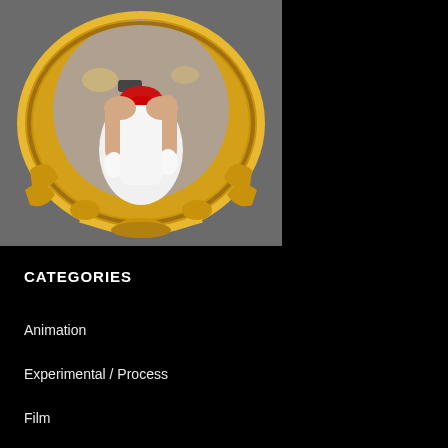[Figure (photo): A woman in a white dress and white gloves with a red bandana around her neck, holding a gun, displayed inside an ornate oval gold decorative frame against a gray background.]
CATEGORIES
Animation
Experimental / Process
Film